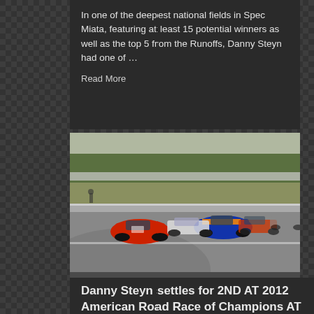In one of the deepest national fields in Spec Miata, featuring at least 15 potential winners as well as the top 5 from the Runoffs, Danny Steyn had one of …
Read More
[Figure (photo): Racing photo showing multiple Spec Miata cars on a race track at Road Atlanta, with a red car in the lead followed by a blue/orange car and several others, with barriers and trees visible in the background]
Danny Steyn settles for 2ND AT 2012 American Road Race of Champions AT ROAD ATLANTA (2012 ARRC)